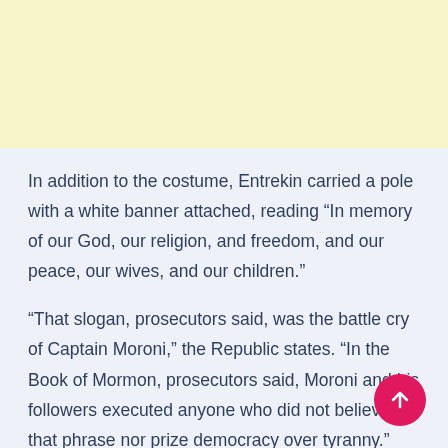[Figure (other): Yellow advertisement banner placeholder at the top of the page]
In addition to the costume, Entrekin carried a pole with a white banner attached, reading “In memory of our God, our religion, and freedom, and our peace, our wives, and our children.”
“That slogan, prosecutors said, was the battle cry of Captain Moroni,” the Republic states. “In the Book of Mormon, prosecutors said, Moroni and his followers executed anyone who did not believe in that phrase nor prize democracy over tyranny.”